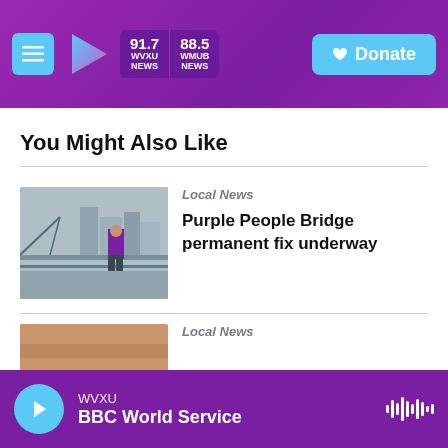WVXU 91.7 WVXU NEWS | 88.5 WMUB NEWS | Donate
You Might Also Like
[Figure (photo): Photo of a person standing on the Purple People Bridge with city skyline in the background]
Local News
Purple People Bridge permanent fix underway
[Figure (photo): Partially visible thumbnail for second article]
Local News
WVXU — BBC World Service (player bar)